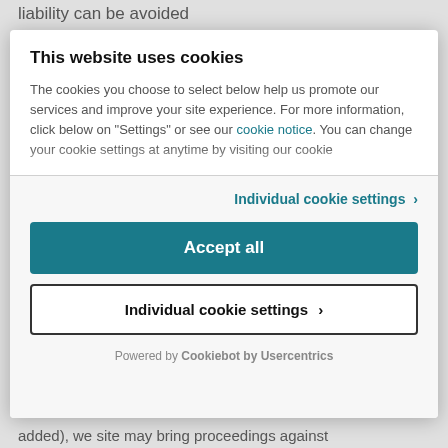liability can be avoided
This website uses cookies
The cookies you choose to select below help us promote our services and improve your site experience. For more information, click below on "Settings" or see our cookie notice. You can change your cookie settings at anytime by visiting our cookie
Individual cookie settings >
Accept all
Individual cookie settings >
Powered by Cookiebot by Usercentrics
added), we site may bring proceedings against